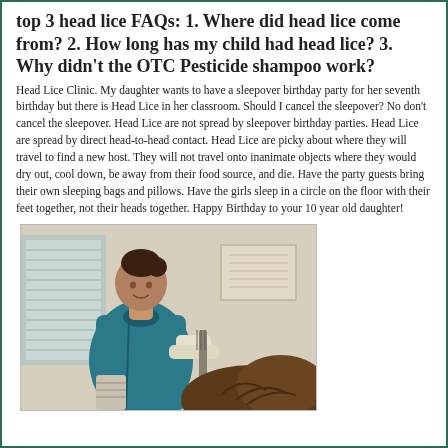top 3 head lice FAQs: 1. Where did head lice come from? 2. How long has my child had head lice? 3. Why didn't the OTC Pesticide shampoo work?
Head Lice Clinic. My daughter wants to have a sleepover birthday party for her seventh birthday but there is Head Lice in her classroom. Should I cancel the sleepover? No don't cancel the sleepover. Head Lice are not spread by sleepover birthday parties. Head Lice are spread by direct head-to-head contact. Head Lice are picky about where they will travel to find a new host. They will not travel onto inanimate objects where they would dry out, cool down, be away from their food source, and die. Have the party guests bring their own sleeping bags and pillows. Have the girls sleep in a circle on the floor with their feet together, not their heads together. Happy Birthday to your 10 year old daughter!
[Figure (photo): A healthcare worker in blue scrubs wearing gloves examining the hair of a patient, appearing to check for or treat head lice in a clinical setting.]